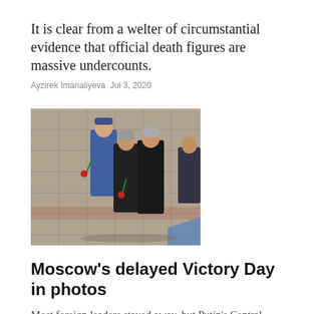It is clear from a welter of circumstantial evidence that official death figures are massive undercounts.
Ayzirek Imanaliyeva Jul 3, 2020
[Figure (photo): Photo of officials in dark suits walking in a parade formation, holding red carnations, on a stone-paved square.]
Moscow's delayed Victory Day in photos
Most foreign leaders stayed away, but Putin's Central Asian crew is a dependable lot.
Jun 24, 2020